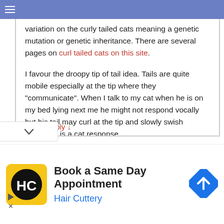Navigation menu bar
variation on the curly tailed cats meaning a genetic mutation or genetic inheritance. There are several pages on curl tailed cats on this site.
I favour the droopy tip of tail idea. Tails are quite mobile especially at the tip where they "communicate". When I talk to my cat when he is on my bed lying next me he might not respond vocally but his tail may curl at the tip and slowly swish around. It is a cat response.
I have not seen the exact behavior/anatomy you mention but can visualize it. Thanks for visiting and asking.
Reply ↓
[Figure (screenshot): Advertisement banner: Hair Cuttery - Book a Same Day Appointment, with HC logo and navigation arrow icon]